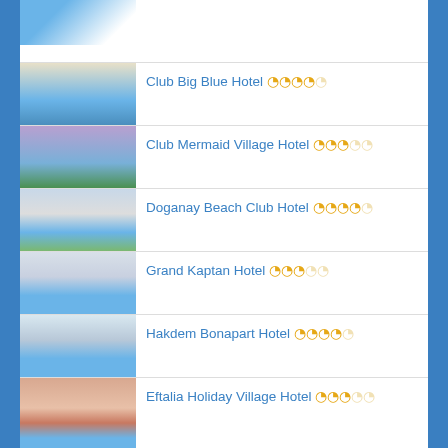(partial hotel row - image only, top)
Club Big Blue Hotel ★★★★☆
Club Mermaid Village Hotel ★★★☆☆
Doganay Beach Club Hotel ★★★★☆
Grand Kaptan Hotel ★★★☆☆
Hakdem Bonapart Hotel ★★★★☆
Eftalia Holiday Village Hotel ★★★☆☆